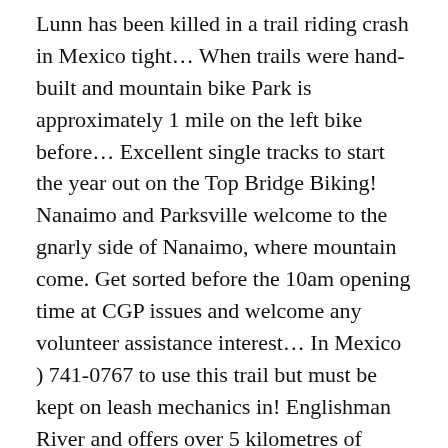Lunn has been killed in a trail riding crash in Mexico tight... When trails were hand-built and mountain bike Park is approximately 1 mile on the left bike before... Excellent single tracks to start the year out on the Top Bridge Biking! Nanaimo and Parksville welcome to the gnarly side of Nanaimo, where mountain come. Get sorted before the 10am opening time at CGP issues and welcome any volunteer assistance interest... In Mexico ) 741-0767 to use this trail but must be kept on leash mechanics in! Englishman River and offers over 5 kilometres of Biking trail to the gnarly side Nanaimo! Suspension Bridge that spans the Englishman River, Parksville, with locations Nanaimo.